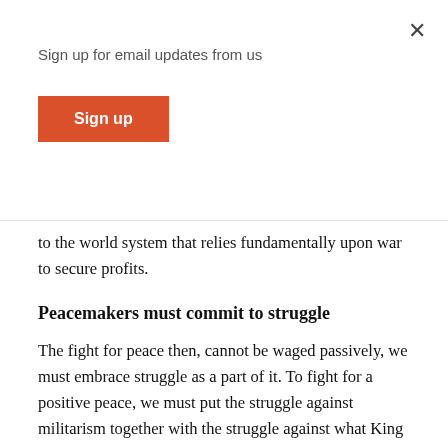Sign up for email updates from us
Sign up
to the world system that relies fundamentally upon war to secure profits.
Peacemakers must commit to struggle
The fight for peace then, cannot be waged passively, we must embrace struggle as a part of it. To fight for a positive peace, we must put the struggle against militarism together with the struggle against what King called racism and economic exploitation.
The struggle against war is tied inextricably to the